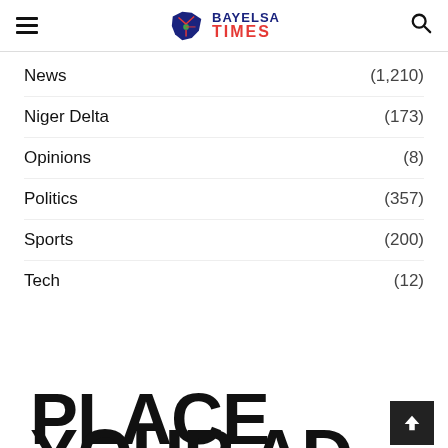Bayelsa Times
News (1,210)
Niger Delta (173)
Opinions (8)
Politics (357)
Sports (200)
Tech (12)
[Figure (other): Advertisement placeholder with large bold text reading PLACE YOUR AD]
PLACE